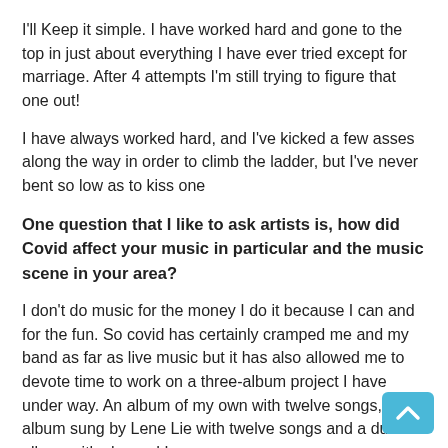I'll Keep it simple. I have worked hard and gone to the top in just about everything I have ever tried except for marriage. After 4 attempts I'm still trying to figure that one out!
I have always worked hard, and I've kicked a few asses along the way in order to climb the ladder, but I've never bent so low as to kiss one
One question that I like to ask artists is, how did Covid affect your music in particular and the music scene in your area?
I don't do music for the money I do it because I can and for the fun. So covid has certainly cramped me and my band as far as live music but it has also allowed me to devote time to work on a three-album project I have under way. An album of my own with twelve songs, An album sung by Lene Lie with twelve songs and a duet album with she and I
I grew up in the 90's, I listened to everyone from Dr. Dre, to Weezer, to Pink Floyd, Metallica, Cypress Hill and back again. I